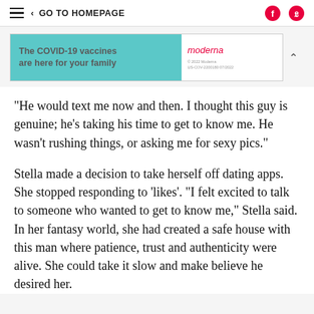GO TO HOMEPAGE
[Figure (screenshot): Moderna COVID-19 vaccine advertisement banner: 'The COVID-19 vaccines are here for your family' on teal background, Moderna logo on right side]
"He would text me now and then. I thought this guy is genuine; he's taking his time to get to know me. He wasn't rushing things, or asking me for sexy pics."
Stella made a decision to take herself off dating apps. She stopped responding to 'likes'. "I felt excited to talk to someone who wanted to get to know me," Stella said. In her fantasy world, she had created a safe house with this man where patience, trust and authenticity were alive. She could take it slow and make believe he desired her.